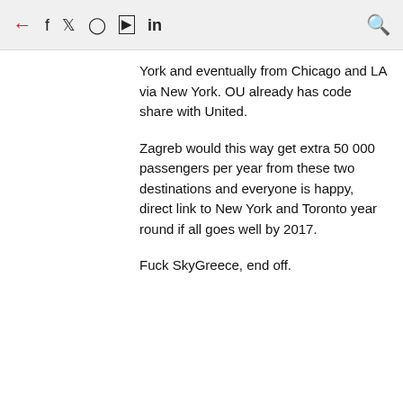← f in [social icons] 🔍
York and eventually from Chicago and LA via New York. OU already has code share with United.
Zagreb would this way get extra 50 000 passengers per year from these two destinations and everyone is happy, direct link to New York and Toronto year round if all goes well by 2017.
Fuck SkyGreece, end off.